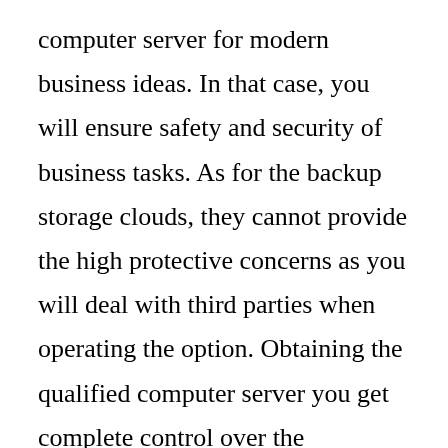computer server for modern business ideas. In that case, you will ensure safety and security of business tasks. As for the backup storage clouds, they cannot provide the high protective concerns as you will deal with third parties when operating the option. Obtaining the qualified computer server you get complete control over the confidential data. It is considered to be an essential investment, therefore. You will easily get superb performance, flexibility, and unrivalled